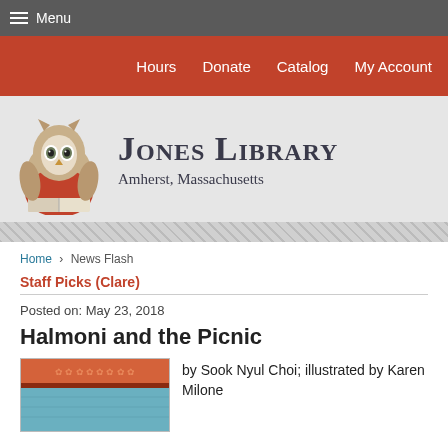Menu
Hours   Donate   Catalog   My Account
[Figure (logo): Jones Library owl mascot logo with owl wearing red sweater reading a book, and text 'Jones Library Amherst, Massachusetts']
Home › News Flash
Staff Picks (Clare)
Posted on: May 23, 2018
Halmoni and the Picnic
[Figure (photo): Book cover of Halmoni and the Picnic showing colorful fabric/quilt imagery in orange and blue tones]
by Sook Nyul Choi; illustrated by Karen Milone